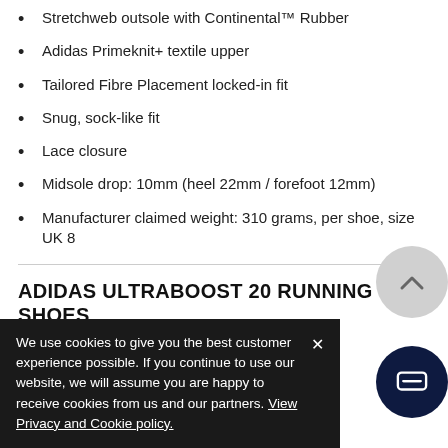Stretchweb outsole with Continental™ Rubber
Adidas Primeknit+ textile upper
Tailored Fibre Placement locked-in fit
Snug, sock-like fit
Lace closure
Midsole drop: 10mm (heel 22mm / forefoot 12mm)
Manufacturer claimed weight: 310 grams, per shoe, size UK 8
ADIDAS ULTRABOOST 20 RUNNING SHOES SIZING
We use cookies to give you the best customer experience possible. If you continue to use our website, we will assume you are happy to receive cookies from us and our partners. View Privacy and Cookie policy.